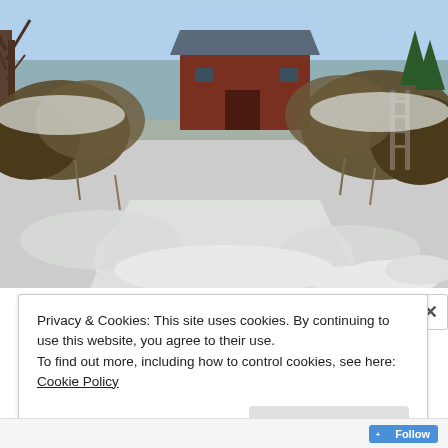[Figure (photo): Outdoor winter scene showing a snow-dusted garden path with bare shrubs and dead plants on either side, a red barn with blue roof visible in the background among bare trees, under a clear blue sky.]
Privacy & Cookies: This site uses cookies. By continuing to use this website, you agree to their use.
To find out more, including how to control cookies, see here: Cookie Policy
Close and accept